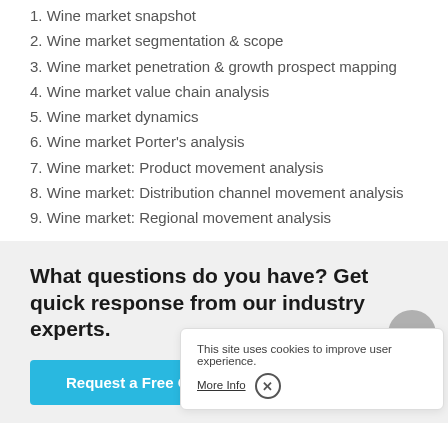1. Wine market snapshot
2. Wine market segmentation & scope
3. Wine market penetration & growth prospect mapping
4. Wine market value chain analysis
5. Wine market dynamics
6. Wine market Porter's analysis
7. Wine market: Product movement analysis
8. Wine market: Distribution channel movement analysis
9. Wine market: Regional movement analysis
What questions do you have? Get quick response from our industry experts.
Request a Free Consultation
This site uses cookies to improve user experience.
More Info